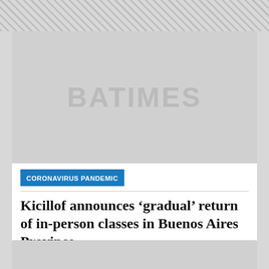[Figure (photo): Gray placeholder image with BATIMES watermark text in the center]
CORONAVIRUS PANDEMIC
Kicillof announces ‘gradual’ return of in-person classes in Buenos Aires Province
[Figure (photo): Partial gray placeholder image at bottom of page]